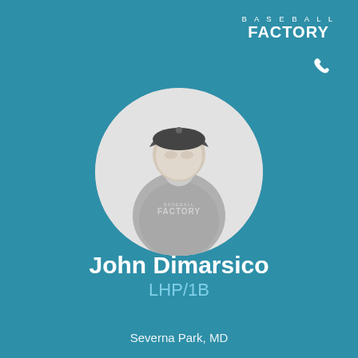[Figure (logo): Baseball Factory logo with stylized phone icon, white text on teal background]
[Figure (photo): Circular cropped black and white photo of John Dimarsico wearing a Baseball Factory uniform and cap]
John Dimarsico
LHP/1B
Severna Park, MD